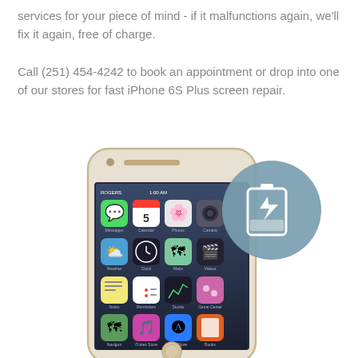services for your piece of mind - if it malfunctions again, we'll fix it again, free of charge.

Call (251) 454-4242 to book an appointment or drop into one of our stores for fast iPhone 6S Plus screen repair.
[Figure (photo): iPhone 6S Plus handset showing home screen with app icons, overlaid with a circular steel-blue battery/lightning bolt icon in the upper right]